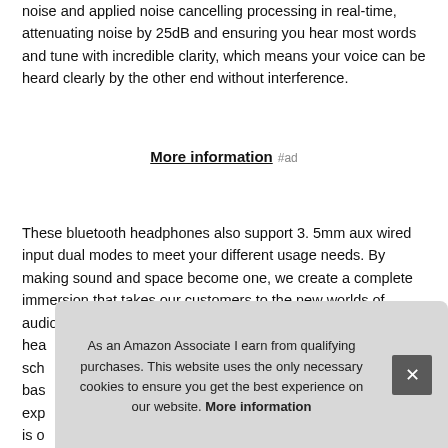noise and applied noise cancelling processing in real-time, attenuating noise by 25dB and ensuring you hear most words and tune with incredible clarity, which means your voice can be heard clearly by the other end without interference.
More information #ad
These bluetooth headphones also support 3. 5mm aux wired input dual modes to meet your different usage needs. By making sound and space become one, we create a complete immersion that takes our customers to the new worlds of audio. These headphones can also be used as a kids' hea sch bas expe is o
As an Amazon Associate I earn from qualifying purchases. This website uses the only necessary cookies to ensure you get the best experience on our website. More information